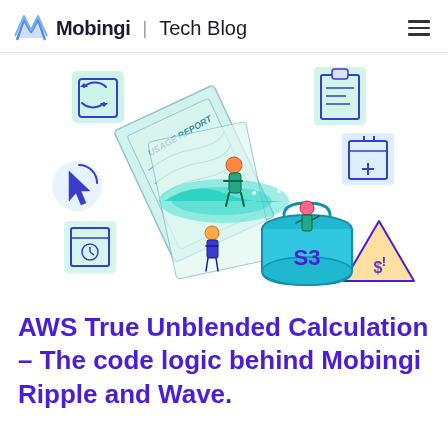Mobingi | Tech Blog
[Figure (illustration): Colorful illustration of people surfing on a wave/document, AWS S3 bucket with a person standing in it, surrounded by floating icons: refresh/sync icon, cursor icon, calendar icon, clipboard icon, calendar with plus icon, and a dollar/warning triangle icon. The scene depicts cloud computing concepts with blue, green, and purple colors.]
AWS True Unblended Calculation – The code logic behind Mobingi Ripple and Wave.